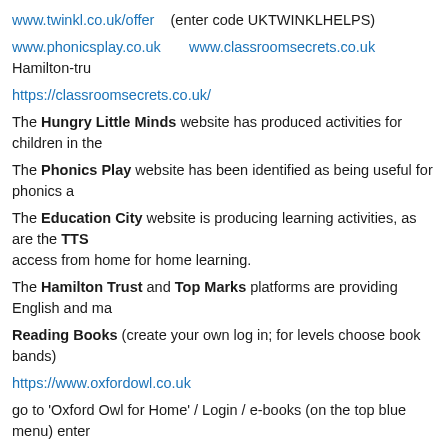www.twinkl.co.uk/offer    (enter code UKTWINKLHELPS)
www.phonicsplay.co.uk        www.classroomsecrets.co.uk        Hamilton-tru
https://classroomsecrets.co.uk/
The Hungry Little Minds website has produced activities for children in the
The Phonics Play website has been identified as being useful for phonics a
The Education City website is producing learning activities, as are the TTS access from home for home learning.
The Hamilton Trust and Top Marks platforms are providing English and ma
Reading Books (create your own log in; for levels choose book bands)
https://www.oxfordowl.co.uk
go to 'Oxford Owl for Home' / Login / e-books (on the top blue menu) enter
Please see below some suggestions to work on and some o
Maths
The children are doing well with problem solving but their end-of term tests
add and subtract simple numbers at pace,
i.e. 8+6=? / 4+5+6=? / 28+? =35